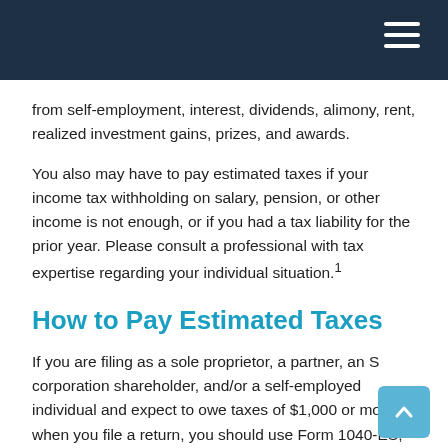from self-employment, interest, dividends, alimony, rent, realized investment gains, prizes, and awards.
You also may have to pay estimated taxes if your income tax withholding on salary, pension, or other income is not enough, or if you had a tax liability for the prior year. Please consult a professional with tax expertise regarding your individual situation.¹
How to Pay Estimated Taxes
If you are filing as a sole proprietor, a partner, an S corporation shareholder, and/or a self-employed individual and expect to owe taxes of $1,000 or more when you file a return, you should use Form 1040-ES, Estimated Tax for Individuals, to calculate and pay your estimated tax. You may pay estimated taxes either online, by phone, or through the